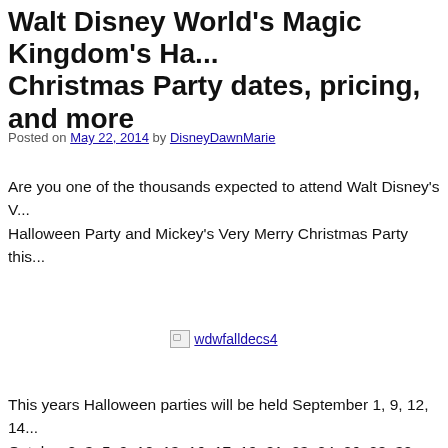Walt Disney World's Magic Kingdom's Ha... Christmas Party dates, pricing, and more
Posted on May 22, 2014 by DisneyDawnMarie
Are you one of the thousands expected to attend Walt Disney's V... Halloween Party and Mickey's Very Merry Christmas Party this...
[Figure (photo): Broken image placeholder labeled wdwfalldecs4]
This years Halloween parties will be held September 1, 9, 12, 14... October 2, 3, 5, 9, 10, 13, 16, 17, 19, 21, 23, 24, 26, 28, 30, and...